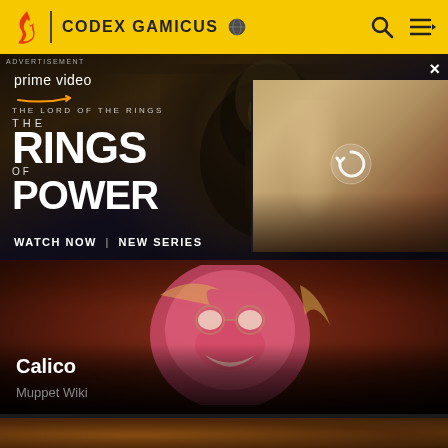CODEX GAMICUS
[Figure (screenshot): Amazon Prime Video advertisement for 'The Lord of the Rings: The Rings of Power' showing a dark robed figure and a female character, with text 'WATCH NOW | NEW SERIES']
ADVERTISEMENT
prime video
THE LORD OF THE RINGS THE RINGS OF POWER
WATCH NOW | NEW SERIES
[Figure (screenshot): Muppet character Calico, a large pink muppet, in a crowd scene with blonde hair and distinctive nose]
Calico
Muppet Wiki
[Figure (screenshot): Partially visible bottom card showing another muppet character scene]